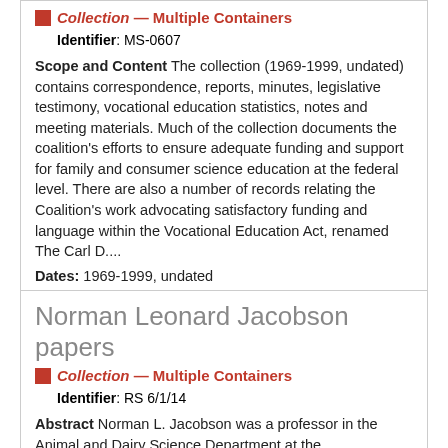Collection – Multiple Containers
Identifier: MS-0607
Scope and Content The collection (1969-1999, undated) contains correspondence, reports, minutes, legislative testimony, vocational education statistics, notes and meeting materials. Much of the collection documents the coalition's efforts to ensure adequate funding and support for family and consumer science education at the federal level. There are also a number of records relating the Coalition's work advocating satisfactory funding and language within the Vocational Education Act, renamed The Carl D....
Dates: 1969-1999, undated
Found in: Special Collections and University Archives
Norman Leonard Jacobson papers
Collection – Multiple Containers
Identifier: RS 6/1/14
Abstract Norman L. Jacobson was a professor in the Animal and Dairy Science Department at the...